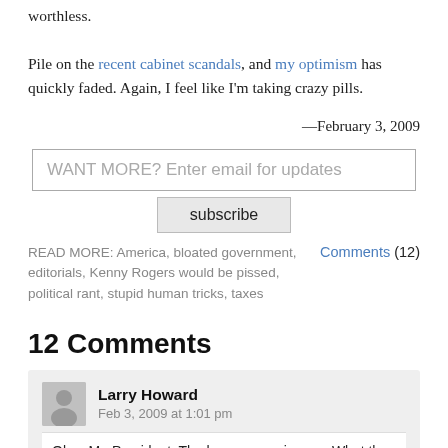worthless.

Pile on the recent cabinet scandals, and my optimism has quickly faded. Again, I feel like I’m taking crazy pills.
—February 3, 2009
WANT MORE? Enter email for updates
subscribe
READ MORE: America, bloated government, editorials, Kenny Rogers would be pissed, political rant, stupid human tricks, taxes
Comments (12)
12 Comments
Larry Howard
Feb 3, 2009 at 1:01 pm
Okay Mr. President. The honeymoon is over. What the hell